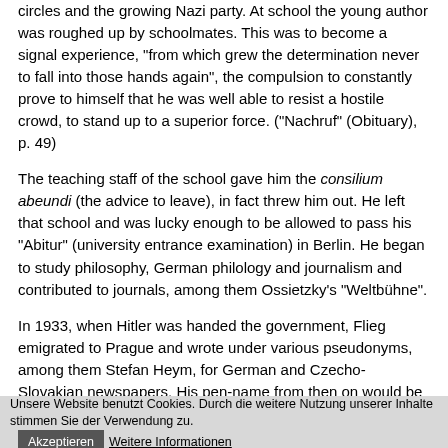circles and the growing Nazi party. At school the young author was roughed up by schoolmates. This was to become a signal experience, "from which grew the determination never to fall into those hands again", the compulsion to constantly prove to himself that he was well able to resist a hostile crowd, to stand up to a superior force. ("Nachruf" (Obituary), p. 49)
The teaching staff of the school gave him the consilium abeundi (the advice to leave), in fact threw him out. He left that school and was lucky enough to be allowed to pass his "Abitur" (university entrance examination) in Berlin. He began to study philosophy, German philology and journalism and contributed to journals, among them Ossietzky's "Weltbühne".
In 1933, when Hitler was handed the government, Flieg emigrated to Prague and wrote under various pseudonyms, among them Stefan Heym, for German and Czecho-Slovakian newspapers. His pen-name from then on would be Stefan Heym.
In 1935 his father committed suicide. Other members of his family were later murdered in Nazi extermination camps.
He emigrated to the USA, studied German philology at Chicago university, worked as chief editor for the New York antifascist weekly "Deutsches Volksecho", which was close to the Communist Party of the
Unsere Website benutzt Cookies. Durch die weitere Nutzung unserer Inhalte stimmen Sie der Verwendung zu. Akzeptieren Weitere Informationen